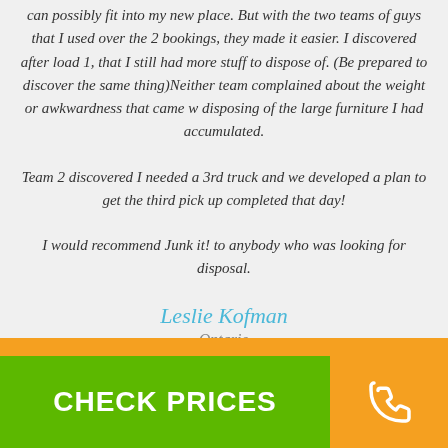can possibly fit into my new place. But with the two teams of guys that I used over the 2 bookings, they made it easier. I discovered after load 1, that I still had more stuff to dispose of. (Be prepared to discover the same thing)Neither team complained about the weight or awkwardness that came w disposing of the large furniture I had accumulated.
Team 2 discovered I needed a 3rd truck and we developed a plan to get the third pick up completed that day!
I would recommend Junk it! to anybody who was looking for disposal.
Leslie Kofman
Ontario
CHECK PRICES